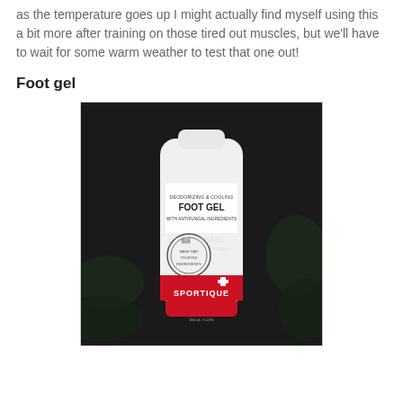as the temperature goes up I might actually find myself using this a bit more after training on those tired out muscles, but we'll have to wait for some warm weather to test that one out!
Foot gel
[Figure (photo): A white tube of Sportique Deodorizing & Cooling Foot Gel with antifungal ingredients, with a red cap and red band, photographed against a dark background with green leaves. A Photobucket watermark is visible on the image.]